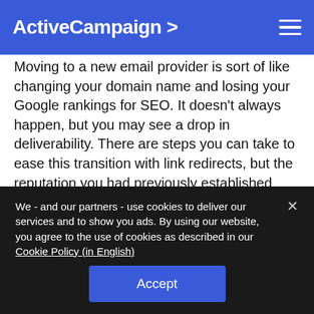ActiveCampaign >
Moving to a new email provider is sort of like changing your domain name and losing your Google rankings for SEO. It doesn't always happen, but you may see a drop in deliverability. There are steps you can take to ease this transition with link redirects, but the reputation you had previously established with your old domain name will need to be rebuilt.
Following the suggestions in the article, you can re-establish your sender reputation and your engagement
We - and our partners - use cookies to deliver our services and to show you ads. By using our website, you agree to the use of cookies as described in our Cookie Policy (in English)
Accept